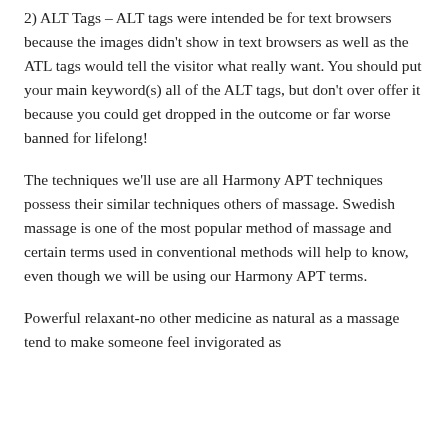2) ALT Tags – ALT tags were intended be for text browsers because the images didn't show in text browsers as well as the ATL tags would tell the visitor what really want. You should put your main keyword(s) all of the ALT tags, but don't over offer it because you could get dropped in the outcome or far worse banned for lifelong!
The techniques we'll use are all Harmony APT techniques possess their similar techniques others of massage. Swedish massage is one of the most popular method of massage and certain terms used in conventional methods will help to know, even though we will be using our Harmony APT terms.
Powerful relaxant-no other medicine as natural as a massage tend to make someone feel invigorated as well as...